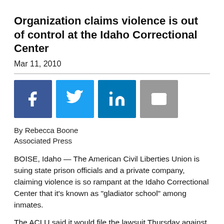Organization claims violence is out of control at the Idaho Correctional Center
Mar 11, 2010
[Figure (other): Social media sharing icons: Facebook, Twitter, LinkedIn, Email]
By Rebecca Boone
Associated Press
BOISE, Idaho — The American Civil Liberties Union is suing state prison officials and a private company, claiming violence is so rampant at the Idaho Correctional Center that it's known as "gladiator school" among inmates.
The ACLU said it would file the lawsuit Thursday against Nashville, Tenn.-based Corrections Corp. of America in